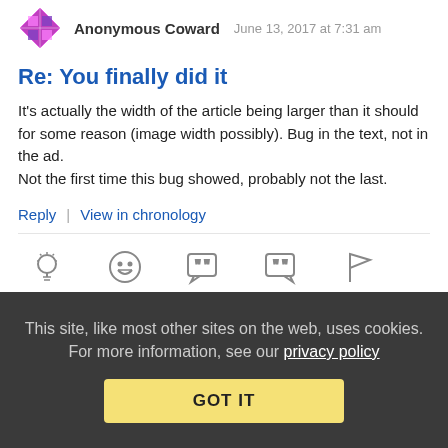[Figure (logo): Anonymous Coward avatar icon (pink/purple diamond shape)]
Anonymous Coward   June 13, 2017 at 7:31 am
Re: You finally did it
It's actually the width of the article being larger than it should for some reason (image width possibly). Bug in the text, not in the ad.
Not the first time this bug showed, probably not the last.
Reply | View in chronology
[Figure (infographic): Row of comment action icons: lightbulb (insightful), grinning face (funny), open quote speech bubble, close quote speech bubble, flag]
[Figure (logo): Second user avatar with striped pattern]
This site, like most other sites on the web, uses cookies. For more information, see our privacy policy
GOT IT